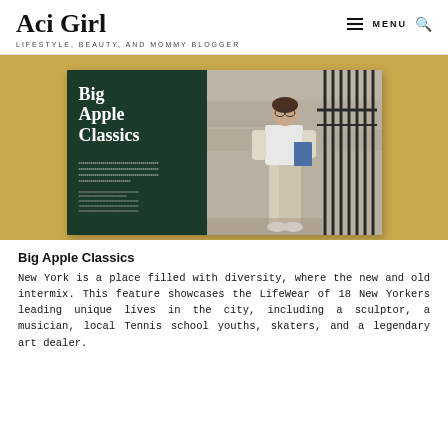Aci Girl — LIFESTYLE, BEAUTY, AND MOMMY BLOGGER
[Figure (photo): Open magazine spread showing 'Big Apple Classics' feature — left page has dark green background with white serif title text and body copy; right page shows a woman standing outdoors near iron railings holding a book, wearing casual beige wide-leg pants and white top]
Big Apple Classics
New York is a place filled with diversity, where the new and old intermix. This feature showcases the LifeWear of 18 New Yorkers leading unique lives in the city, including a sculptor, a musician, local Tennis school youths, skaters, and a legendary art dealer.